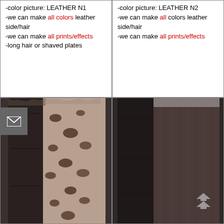-color picture: LEATHER N1
-we can make all colors leather side/hair
-we can make all prints/effects
-long hair or shaved plates
-color picture: LEATHER N2
-we can make all colors leather side/hair
-we can make all prints/effects
[Figure (photo): Leather and animal-print fur textile sample, dark brown leather on left, leopard print fur on right]
[Figure (photo): Leather and dark shaved fur textile sample, dark brown leather on left, dark mink-like fur on right]